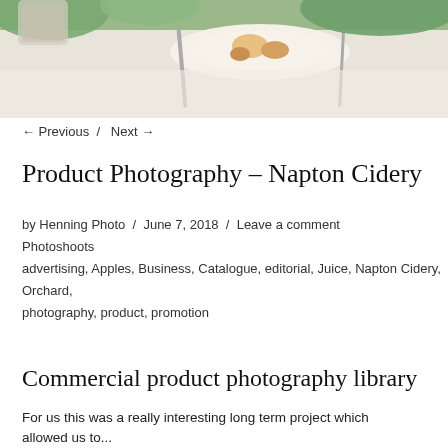[Figure (photo): Top portion of a food/product photography image showing a table setting with plates, utensils, and green foliage in the background]
← Previous  /  Next →
Product Photography – Napton Cidery
by Henning Photo  /  June 7, 2018  /  Leave a comment
Photoshoots
advertising, Apples, Business, Catalogue, editorial, Juice, Napton Cidery, Orchard, photography, product, promotion
Commercial product photography library
For us this was a really interesting long term project which allowed us to...